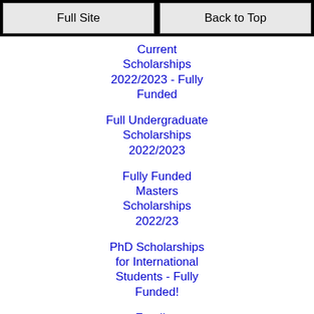Full Site | Back to Top
Current Scholarships 2022/2023 - Fully Funded
Full Undergraduate Scholarships 2022/2023
Fully Funded Masters Scholarships 2022/23
PhD Scholarships for International Students - Fully Funded!
Funding